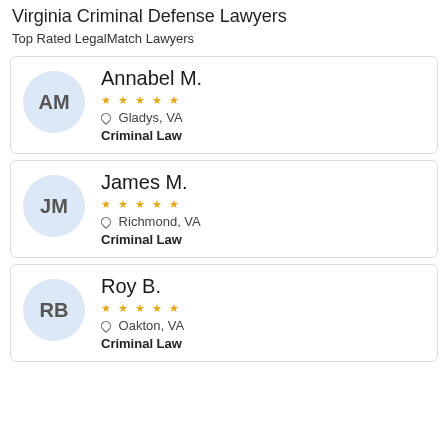Virginia Criminal Defense Lawyers
Top Rated LegalMatch Lawyers
[Figure (other): Lawyer card: Annabel M., avatar initials AM, stars rating, Gladys VA, Criminal Law]
[Figure (other): Lawyer card: James M., avatar initials JM, stars rating, Richmond VA, Criminal Law]
[Figure (other): Lawyer card: Roy B., avatar initials RB, stars rating, Oakton VA, Criminal Law]